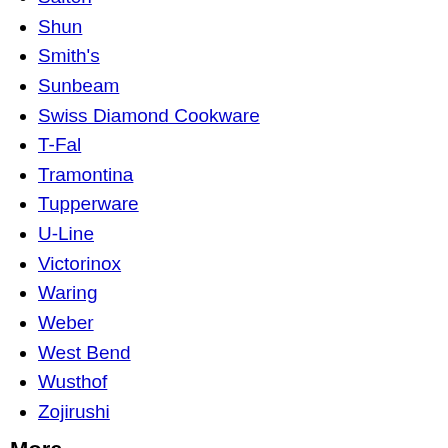Salton
Shun
Smith's
Sunbeam
Swiss Diamond Cookware
T-Fal
Tramontina
Tupperware
U-Line
Victorinox
Waring
Weber
West Bend
Wusthof
Zojirushi
More
About TheCooksDen
Recipes
Detailed Recipes
News
Cook's Search
Industry News Wire